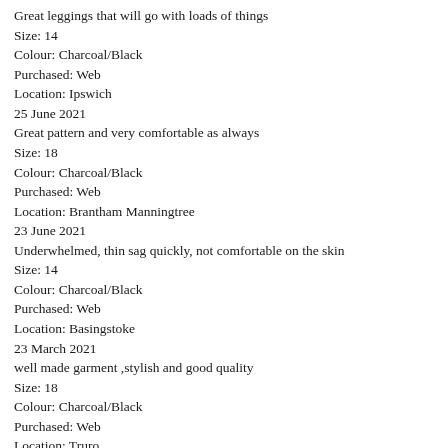Great leggings that will go with loads of things
Size: 14
Colour: Charcoal/Black
Purchased: Web
Location: Ipswich
25 June 2021
Great pattern and very comfortable as always
Size: 18
Colour: Charcoal/Black
Purchased: Web
Location: Brantham Manningtree
23 June 2021
Underwhelmed, thin sag quickly, not comfortable on the skin
Size: 14
Colour: Charcoal/Black
Purchased: Web
Location: Basingstoke
23 March 2021
well made garment ,stylish and good quality
Size: 18
Colour: Charcoal/Black
Purchased: Web
Location: Truro
23 March 2021
well made item and stylish garment